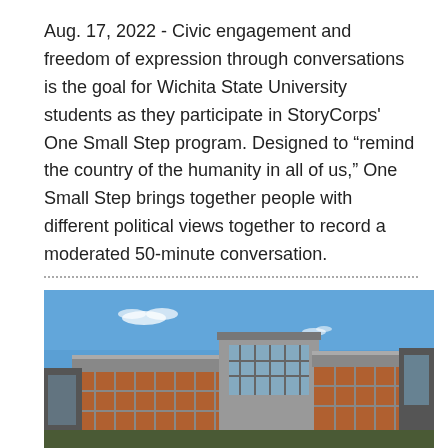Aug. 17, 2022 - Civic engagement and freedom of expression through conversations is the goal for Wichita State University students as they participate in StoryCorps' One Small Step program. Designed to “remind the country of the humanity in all of us,” One Small Step brings together people with different political views together to record a moderated 50-minute conversation.
[Figure (photo): Exterior photograph of a modern multi-story university building with brick and metal cladding, large windows, and a blue sky background.]